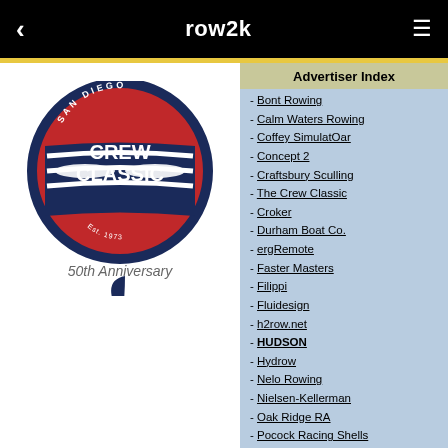row2k
[Figure (logo): San Diego Crew Classic 50th Anniversary logo - circular red and navy badge with oars, plus palm tree and SAN text illustration below]
Advertiser Index
Bont Rowing
Calm Waters Rowing
Coffey SimulatOar
Concept 2
Craftsbury Sculling
The Crew Classic
Croker
Durham Boat Co.
ergRemote
Faster Masters
Filippi
Fluidesign
h2row.net
HUDSON
Hydrow
Nelo Rowing
Nielsen-Kellerman
Oak Ridge RA
Pocock Racing Shells
Race1 USA